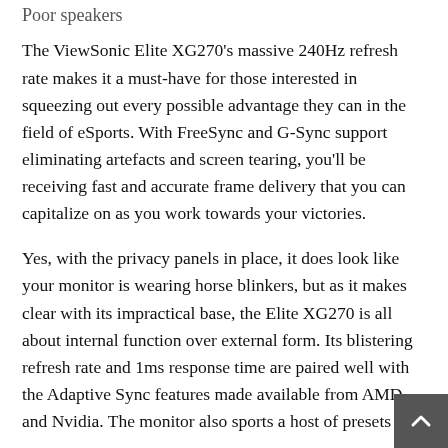Poor speakers
The ViewSonic Elite XG270's massive 240Hz refresh rate makes it a must-have for those interested in squeezing out every possible advantage they can in the field of eSports. With FreeSync and G-Sync support eliminating artefacts and screen tearing, you'll be receiving fast and accurate frame delivery that you can capitalize on as you work towards your victories.
Yes, with the privacy panels in place, it does look like your monitor is wearing horse blinkers, but as it makes clear with its impractical base, the Elite XG270 is all about internal function over external form. Its blistering refresh rate and 1ms response time are paired well with the Adaptive Sync features made available from AMD and Nvidia. The monitor also sports a host of presets fo